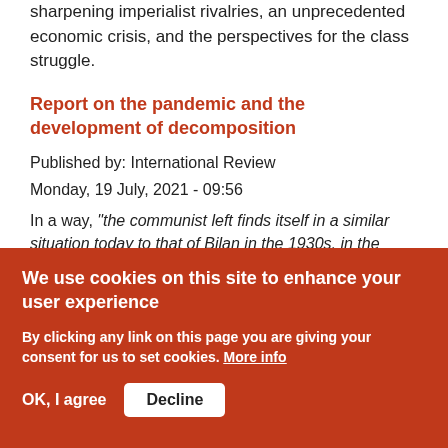sharpening imperialist rivalries, an unprecedented economic crisis, and the perspectives for the class struggle.
Report on the pandemic and the development of decomposition
Published by: International Review
Monday, 19 July, 2021 - 09:56
In a way, "the communist left finds itself in a similar situation today to that of Bilan in the 1930s, in the sense that it is obliged to understand a new and unprecedented historical situation" (Resolution on the
We use cookies on this site to enhance your user experience
By clicking any link on this page you are giving your consent for us to set cookies. More info
OK, I agree   Decline